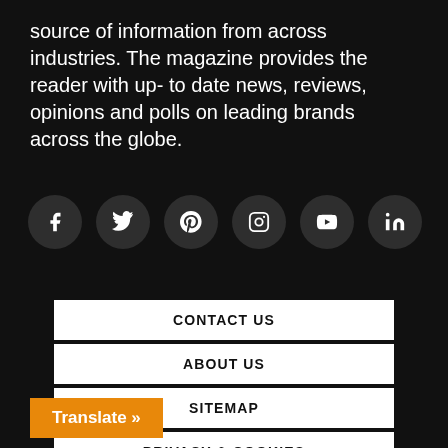source of information from across industries. The magazine provides the reader with up- to date news, reviews, opinions and polls on leading brands across the globe.
[Figure (illustration): Six social media icons in dark circles: Facebook (f), Twitter (bird), Pinterest (p), Instagram (camera), YouTube (play button), LinkedIn (in)]
CONTACT US
ABOUT US
SITEMAP
PRIVACY & COOKIES
TERMS AND CONDITIONS
Translate »